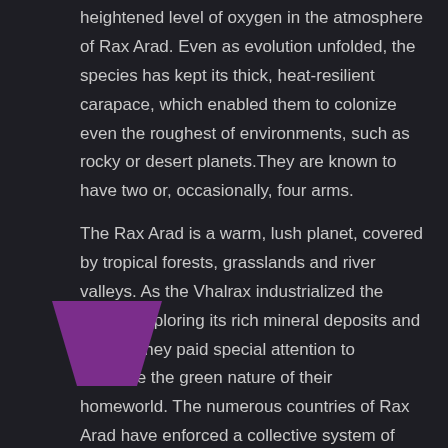heightened level of oxygen in the atmosphere of Rax Arad. Even as evolution unfolded, the species has kept its thick, heat-resilient carapace, which enabled them to colonize even the roughest of environments, such as rocky or desert planets.They are known to have two or, occasionally, four arms.
The Rax Arad is a warm, lush planet, covered by tropical forests, grasslands and river valleys. As the Vhalrax industrialized the planet, exploring its rich mineral deposits and metals, they paid special attention to preserve the green nature of their homeworld. The numerous countries of Rax Arad have enforced a collective system of rules whereby after an industrial site was depleted and decommissioned, it had to be restored to its original state of terrain and wildlife.
[Figure (logo): Purple trapezoid/funnel logo shape in lower left corner]